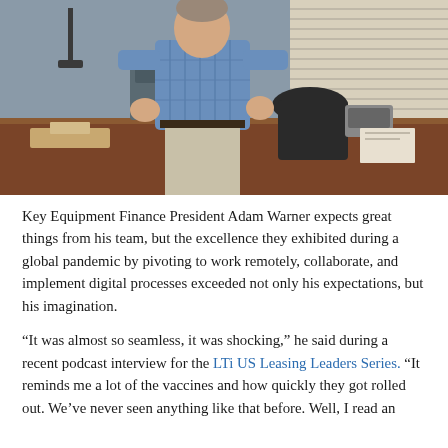[Figure (photo): A man in a blue plaid shirt stands in an office with a wooden desk, black office chair, and window blinds in the background.]
Key Equipment Finance President Adam Warner expects great things from his team, but the excellence they exhibited during a global pandemic by pivoting to work remotely, collaborate, and implement digital processes exceeded not only his expectations, but his imagination.
“It was almost so seamless, it was shocking,” he said during a recent podcast interview for the LTi US Leasing Leaders Series. “It reminds me a lot of the vaccines and how quickly they got rolled out. We’ve never seen anything like that before. Well, I read an